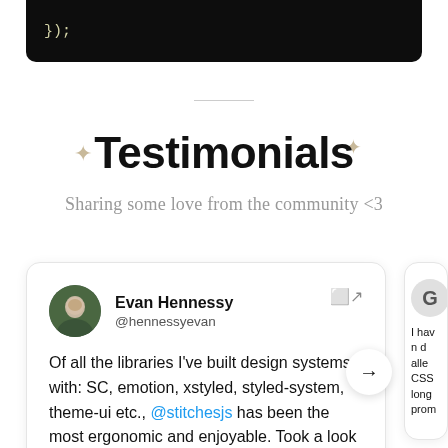[Figure (screenshot): Dark code block showing '});' in yellowish monospace text on a near-black background]
Testimonials
Sharing some love from the community <3
[Figure (screenshot): Testimonial card from Evan Hennessy (@hennessyevan): 'Of all the libraries I've built design systems with: SC, emotion, xstyled, styled-system, theme-ui etc., @stitchesjs has been the most ergonomic and enjoyable. Took a look at the roadmap and it looks like it's getting even better.']